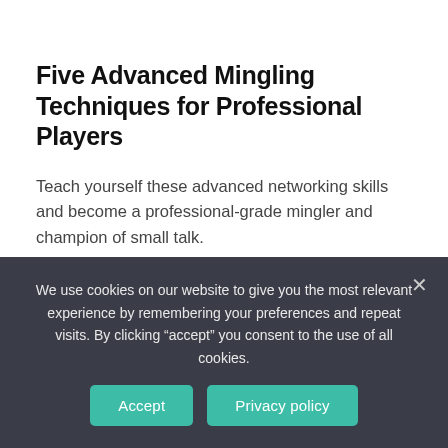Five Advanced Mingling Techniques for Professional Players
Teach yourself these advanced networking skills and become a professional-grade mingler and champion of small talk.
July 7, 2022
Want to Reduce Turnover and Secure Your Law Firm's Legacy? Be More Transparent
We use cookies on our website to give you the most relevant experience by remembering your preferences and repeat visits. By clicking "accept" you consent to the use of all cookies.